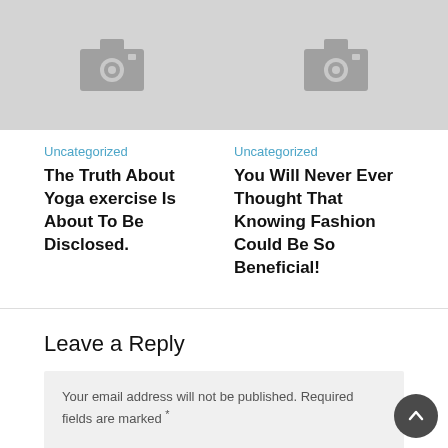[Figure (photo): Two placeholder image thumbnails with camera icons side by side]
Uncategorized
The Truth About Yoga exercise Is About To Be Disclosed.
Uncategorized
You Will Never Ever Thought That Knowing Fashion Could Be So Beneficial!
Leave a Reply
Your email address will not be published. Required fields are marked *
Comment *